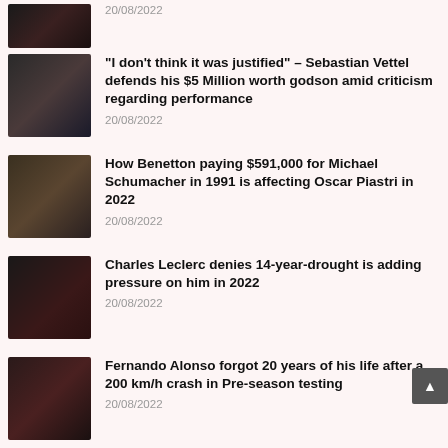[Figure (photo): Blurred article thumbnail image (partial, top)]
20/08/2022
[Figure (photo): Blurred dark article thumbnail image]
“I don’t think it was justified” – Sebastian Vettel defends his $5 Million worth godson amid criticism regarding performance
20/08/2022
[Figure (photo): Blurred dark article thumbnail image]
How Benetton paying $591,000 for Michael Schumacher in 1991 is affecting Oscar Piastri in 2022
20/08/2022
[Figure (photo): Blurred dark article thumbnail image]
Charles Leclerc denies 14-year-drought is adding pressure on him in 2022
20/08/2022
[Figure (photo): Blurred dark article thumbnail image]
Fernando Alonso forgot 20 years of his life after a 200 km/h crash in Pre-season testing
20/08/2022
[Figure (photo): Blurred dark article thumbnail image]
“I don’t think I’ve peaked yet as a driver”– 10 Grand Prix winner Valtteri Bottas doesn’t think he is yet to touch his best time in F1